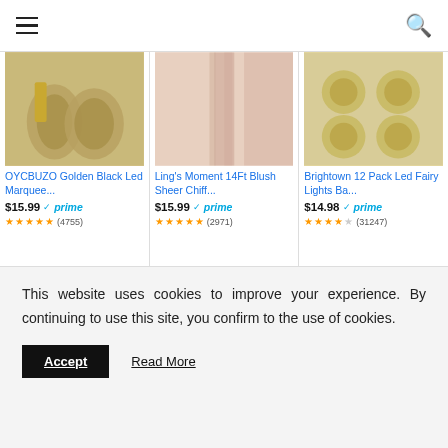Navigation header with hamburger menu and search icon
[Figure (screenshot): Product card: OYCBUZO Golden Black Led Marquee... $15.99 prime, 4.5 stars (4755)]
[Figure (screenshot): Product card: Ling's Moment 14Ft Blush Sheer Chiff... $15.99 prime, 4.5 stars (2971)]
[Figure (screenshot): Product card: Brightown 12 Pack Led Fairy Lights Ba... $14.98 prime, 4.5 stars (31247)]
wedding decorations
Ads by Amazon
Now, this is where it gets interesting: while the
This website uses cookies to improve your experience. By continuing to use this site, you confirm to the use of cookies.
Accept
Read More